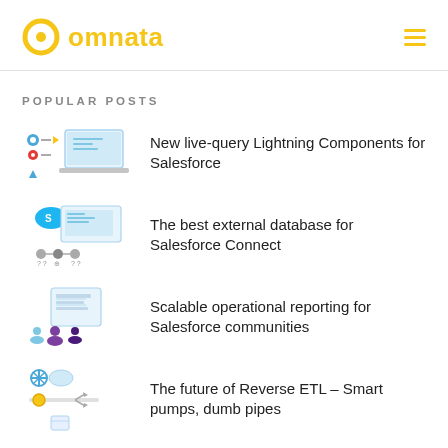[Figure (logo): Omnata logo: yellow circular ring icon with 'omnata' text in yellow, and hamburger menu icon on the right]
POPULAR POSTS
[Figure (illustration): Thumbnail showing data flow icons with arrows, a lightning bolt, and a laptop screen for live-query Lightning Components post]
New live-query Lightning Components for Salesforce
[Figure (illustration): Thumbnail showing Salesforce cloud icon, a dashboard screen, and interconnected nodes for external database post]
The best external database for Salesforce Connect
[Figure (illustration): Thumbnail showing a report/grid screen and three user group icons in purple for operational reporting post]
Scalable operational reporting for Salesforce communities
[Figure (illustration): Thumbnail showing a data/ETL pipeline diagram with cloud, gear, arrows and split icon for Reverse ETL post]
The future of Reverse ETL – Smart pumps, dumb pipes